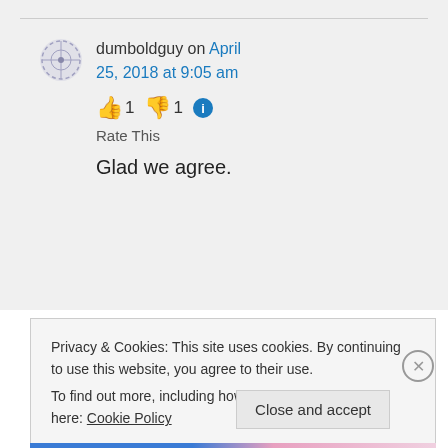dumboldguy on April 25, 2018 at 9:05 am
👍 1 👎 1 ℹ Rate This
Glad we agree.
Privacy & Cookies: This site uses cookies. By continuing to use this website, you agree to their use.
To find out more, including how to control cookies, see here: Cookie Policy
Close and accept